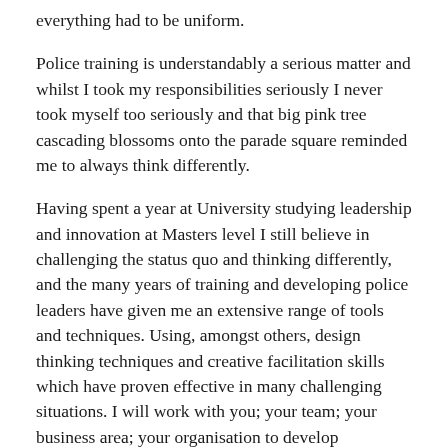everything had to be uniform.
Police training is understandably a serious matter and whilst I took my responsibilities seriously I never took myself too seriously and that big pink tree cascading blossoms onto the parade square reminded me to always think differently.
Having spent a year at University studying leadership and innovation at Masters level I still believe in challenging the status quo and thinking differently, and the many years of training and developing police leaders have given me an extensive range of tools and techniques. Using, amongst others, design thinking techniques and creative facilitation skills which have proven effective in many challenging situations. I will work with you; your team; your business area; your organisation to develop innovative approaches and plans of action to solve your problems and challenges.
As such, I offer a number of options in